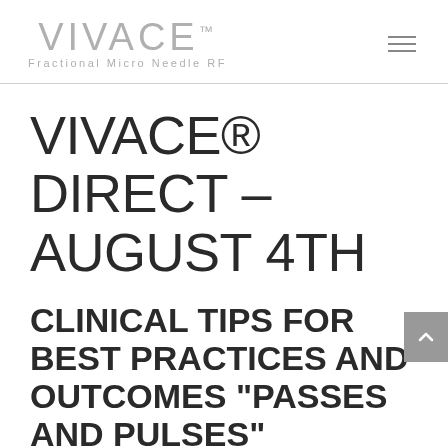VIVACE Fractional Micro Needle RF
VIVACE® DIRECT – AUGUST 4TH
CLINICAL TIPS FOR BEST PRACTICES AND OUTCOMES "PASSES AND PULSES"